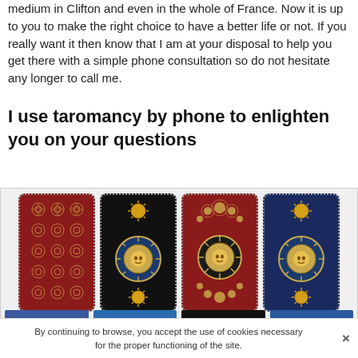medium in Clifton and even in the whole of France. Now it is up to you to make the right choice to have a better life or not. If you really want it then know that I am at your disposal to help you get there with a simple phone consultation so do not hesitate any longer to call me.
I use taromancy by phone to enlighten you on your questions
[Figure (illustration): Four tarot cards displayed side by side. Card 1: red background with floral/mandala pattern repeating. Card 2: black background with gold sun symbol at top and bottom, blue and gold sun circle in center. Card 3: dark red background with sun and floral motifs around a central sun circle. Card 4: navy blue background with gold sun at top and bottom, blue and gold sun circle in center. Below the cards are partial strips visible showing more cards.]
By continuing to browse, you accept the use of cookies necessary for the proper functioning of the site.